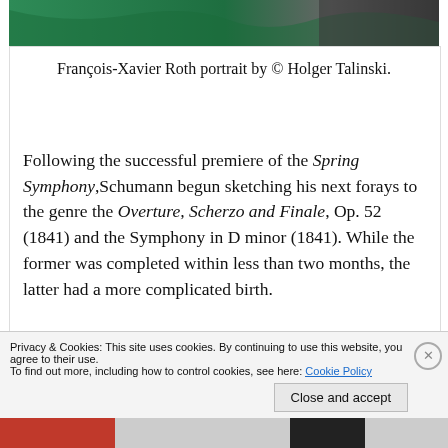[Figure (photo): Top portion of a portrait photo of François-Xavier Roth, showing green clothing and partial background figure]
François-Xavier Roth portrait by © Holger Talinski.
Following the successful premiere of the Spring Symphony,Schumann begun sketching his next forays to the genre the Overture, Scherzo and Finale, Op. 52 (1841) and the Symphony in D minor (1841). While the former was completed within less than two months, the latter had a more complicated birth.
Privacy & Cookies: This site uses cookies. By continuing to use this website, you agree to their use.
To find out more, including how to control cookies, see here: Cookie Policy